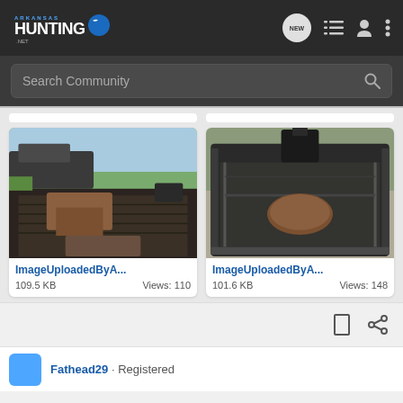Arkansas Hunting .net
Search Community
[Figure (photo): Boat interior photo 1 - ImageUploadedByA...]
ImageUploadedByA...
109.5 KB   Views: 110
[Figure (photo): Boat interior photo 2 - ImageUploadedByA...]
ImageUploadedByA...
101.6 KB   Views: 148
Fathead29 · Registered